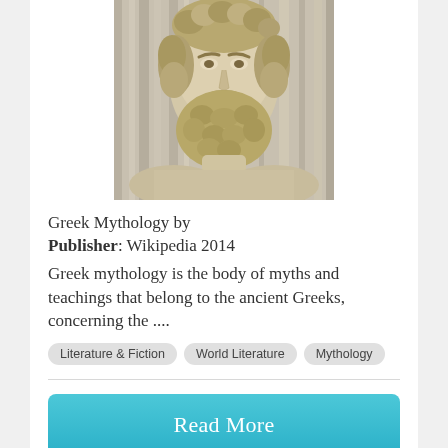[Figure (photo): Photograph of a classical Greek sculpture bust with curly hair and beard, likely Zeus or another Greek deity, marble/stone texture, facing forward]
Greek Mythology by Publisher: Wikipedia 2014
Greek mythology is the body of myths and teachings that belong to the ancient Greeks, concerning the ....
Literature & Fiction
World Literature
Mythology
Read More